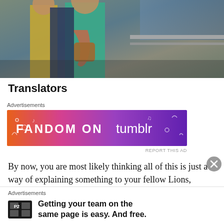[Figure (photo): Two women standing together outdoors, one wearing a teal/green cardigan with a colorful scarf and brown crossbody bag, the other wearing a yellow top and dark pants, with water visible in the background]
Translators
[Figure (other): Advertisement banner for FANDOM ON tumblr with colorful orange-to-purple gradient background and white decorative doodles]
By now, you are most likely thinking all of this is just a way of explaining something to your fellow Lions, friends and family – or a target audience to get your
[Figure (other): Advertisement for P2: Getting your team on the same page is easy. And free.]